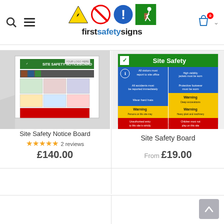[Figure (logo): firstsafetysigns logo with safety sign icons (electric hazard, prohibition, mandatory, fire exit) above text 'firstsafetysigns']
[Figure (photo): Site Safety Notice Board product photo - large wall-mounted notice board with various safety signs]
Site Safety Notice Board
★★★★★ 2 reviews
£140.00
[Figure (photo): Site Safety Board product photo - green, blue, yellow and red grid of safety instruction signs]
Site Safety Board
From £19.00